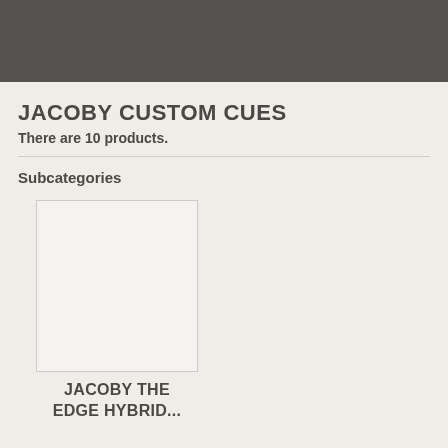[Figure (photo): Dark gray header banner image]
JACOBY CUSTOM CUES
There are 10 products.
Subcategories
[Figure (photo): Empty product image placeholder box for Jacoby The Edge Hybrid subcategory]
JACOBY THE EDGE HYBRID...